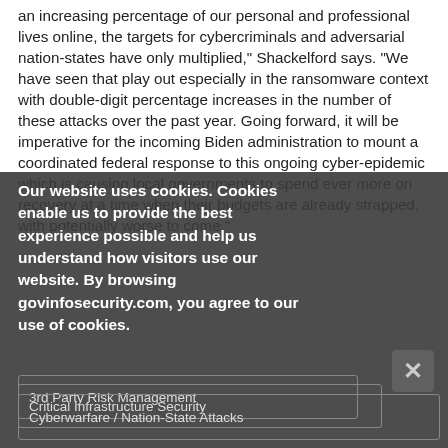an increasing percentage of our personal and professional lives online, the targets for cybercriminals and adversarial nation-states have only multiplied," Shackelford says. "We have seen that play out especially in the ransomware context with double-digit percentage increases in the number of these attacks over the past year. Going forward, it will be imperative for the incoming Biden administration to mount a coordinated federal response to this ongoing cyber-epidemic which is causing local governments to spend ever more on recovery at a time when their budgets are already strapped, with potentially worse to come."
Our website uses cookies. Cookies enable us to provide the best experience possible and help us understand how visitors use our website. By browsing govinfosecurity.com, you agree to our use of cookies.
3rd Party Risk Management
Critical Infrastructure Security
Cyberwarfare / Nation-State Attacks